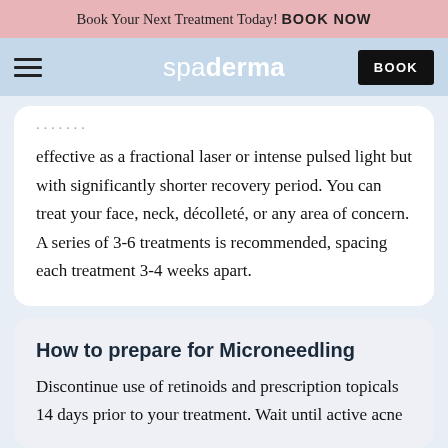Book Your Next Treatment Today! BOOK NOW
spaderma BOOK
effective as a fractional laser or intense pulsed light but with significantly shorter recovery period. You can treat your face, neck, décolleté, or any area of concern. A series of 3-6 treatments is recommended, spacing each treatment 3-4 weeks apart.
How to prepare for Microneedling
Discontinue use of retinoids and prescription topicals 14 days prior to your treatment. Wait until active acne